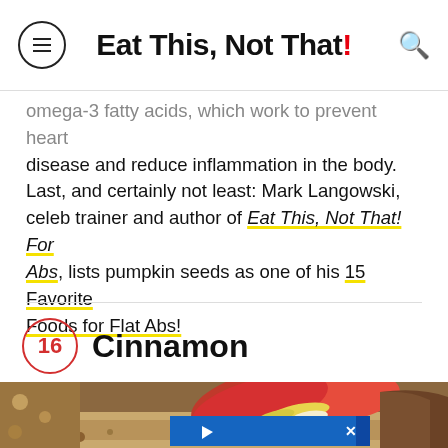Eat This, Not That!
omega-3 fatty acids, which work to prevent heart disease and reduce inflammation in the body. Last, and certainly not least: Mark Langowski, celeb trainer and author of Eat This, Not That! For Abs, lists pumpkin seeds as one of his 15 Favorite Foods for Flat Abs!
16 Cinnamon
[Figure (photo): Food photo showing sliced red apple and oatmeal/granola in a bowl, with a partially visible advertisement overlay at the bottom]